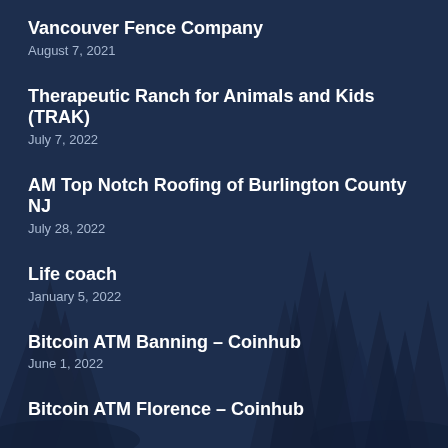Vancouver Fence Company
August 7, 2021
Therapeutic Ranch for Animals and Kids (TRAK)
July 7, 2022
AM Top Notch Roofing of Burlington County NJ
July 28, 2022
Life coach
January 5, 2022
Bitcoin ATM Banning – Coinhub
June 1, 2022
Bitcoin ATM Florence – Coinhub